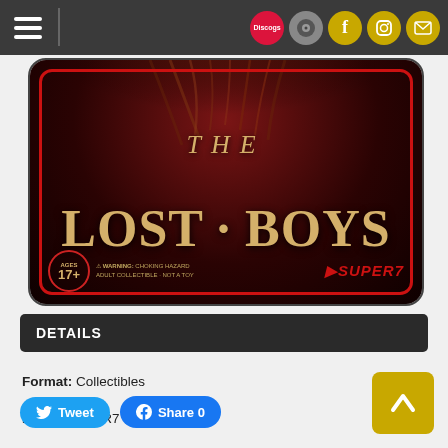Navigation bar with hamburger menu and icons: Discogs, music, Facebook, Instagram, mail
[Figure (photo): The Lost Boys collectible product packaging — dark red/maroon background with gold serif text reading 'THE LOST BOYS', red rounded border, hair visible at top, ages 17+ badge, warning text, Super7 logo at bottom right]
DETAILS
Format: Collectibles
Label: SUPER7
Rel. Date: 04/09/2022
UPC: 840049815810